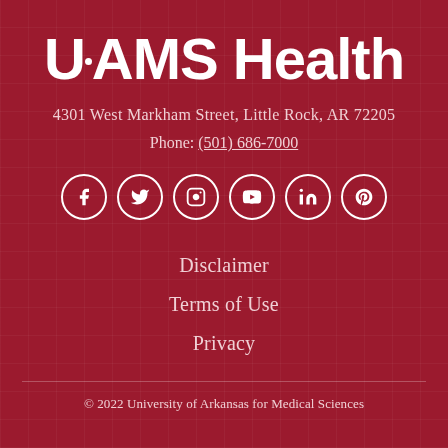UAMS Health
4301 West Markham Street, Little Rock, AR 72205
Phone: (501) 686-7000
[Figure (illustration): Social media icons row: Facebook, Twitter, Instagram, YouTube, LinkedIn, Pinterest — white circle-bordered icons on dark red background]
Disclaimer
Terms of Use
Privacy
© 2022 University of Arkansas for Medical Sciences